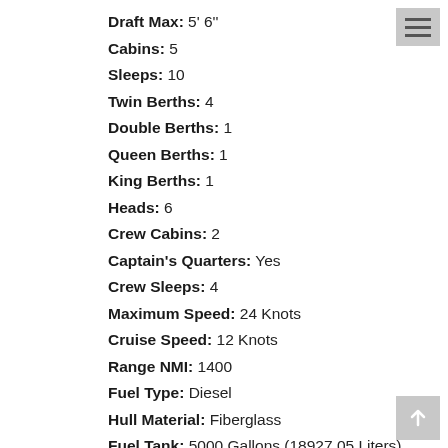Draft Max: 5' 6"
Cabins: 5
Sleeps: 10
Twin Berths: 4
Double Berths: 1
Queen Berths: 1
King Berths: 1
Heads: 6
Crew Cabins: 2
Captain's Quarters: Yes
Crew Sleeps: 4
Maximum Speed: 24 Knots
Cruise Speed: 12 Knots
Range NMI: 1400
Fuel Type: Diesel
Hull Material: Fiberglass
Fuel Tank: 5000 Gallons (18927.05 Liters)